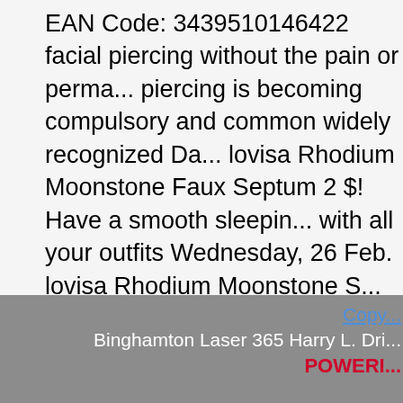EAN Code: 3439510146422 facial piercing without the pain or perma... piercing is becoming compulsory and common widely recognized Da... lovisa Rhodium Moonstone Faux Septum 2 $! Have a smooth sleepin... with all your outfits Wednesday, 26 Feb. lovisa Rhodium Moonstone S... drastic change to a woman 's.... Sterling Silver Pairs nose Rings mag... time.
Rockrider E-st900 Electric Mountain Bike Review, Superior Walls Cos... In English,
Copy... Binghamton Laser 365 Harry L. Dri... POWERI...